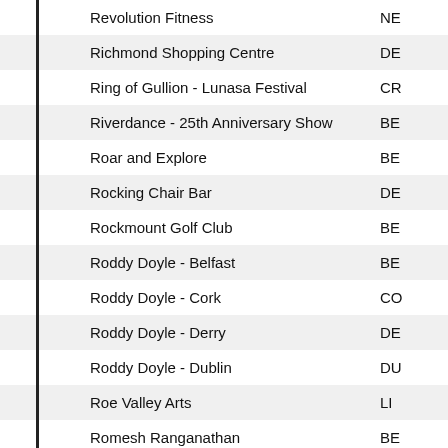| Name | Code |
| --- | --- |
| Revolution Fitness | NE |
| Richmond Shopping Centre | DE |
| Ring of Gullion - Lunasa Festival | CR |
| Riverdance - 25th Anniversary Show | BE |
| Roar and Explore | BE |
| Rocking Chair Bar | DE |
| Rockmount Golf Club | BE |
| Roddy Doyle - Belfast | BE |
| Roddy Doyle - Cork | CO |
| Roddy Doyle - Derry | DE |
| Roddy Doyle - Dublin | DU |
| Roe Valley Arts | LI |
| Romesh Ranganathan | BE |
| Rose Of Tralee International Festival | TR |
| Rosepark Farm Ballymoney | BA |
| Ross Noble | BE |
| Royal Air Force Association | BE |
| Royal Air Force in concert tour | BE |
| Royal Belfast Golf Club | UC |